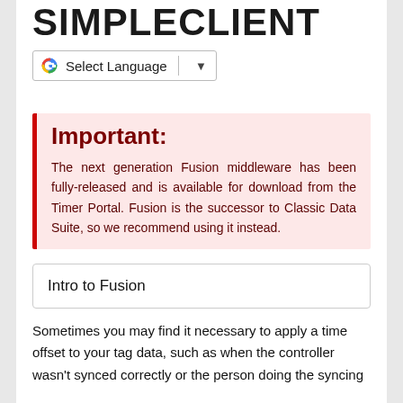SIMPLECLIENT
[Figure (other): Google Translate language selector widget with G logo, 'Select Language' text, and dropdown arrow]
Important:
The next generation Fusion middleware has been fully-released and is available for download from the Timer Portal. Fusion is the successor to Classic Data Suite, so we recommend using it instead.
Intro to Fusion
Sometimes you may find it necessary to apply a time offset to your tag data, such as when the controller wasn't synced correctly or the person doing the syncing